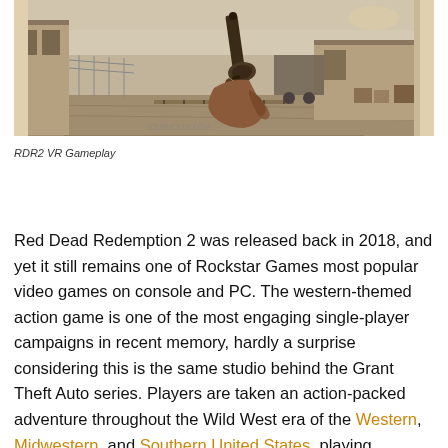[Figure (screenshot): First-person view gameplay screenshot from Red Dead Redemption 2 VR, showing a hand holding a revolver aimed at a dusty western town scene with wooden structures and barrels in the background.]
RDR2 VR Gameplay
Red Dead Redemption 2 was released back in 2018, and yet it still remains one of Rockstar Games most popular video games on console and PC. The western-themed action game is one of the most engaging single-player campaigns in recent memory, hardly a surprise considering this is the same studio behind the Grant Theft Auto series. Players are taken an action-packed adventure throughout the Wild West era of the Western, Midwestern, and Southern United States, playing